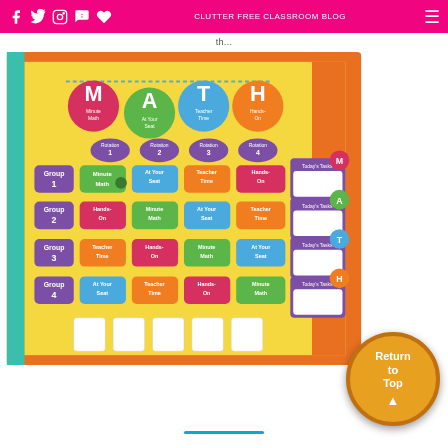Social media icons and navigation menu on pink bar
th...
[Figure (photo): Classroom math rotation bulletin board on yellow background with colorful group rotation cards labeled Group 1-4, stations including Minute Math, At Your Seat, Teacher Time, Hands-On, with Today's Tasks panels on the right side and MATH banner pennants at top]
Return to Top